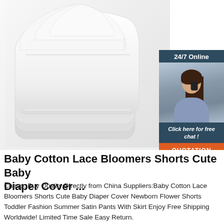[Figure (photo): Stack of white cloth diaper inserts/pads photographed on white background, fanned out showing multiple layers. Overlaid with a live chat widget in the upper right showing '24/7 Online', an image of a female customer service agent wearing a headset, 'Click here for free chat!' text, and an orange 'QUOTATION' button.]
Baby Cotton Lace Bloomers Shorts Cute Baby Diaper Cover ...
Cheap, Buy Quality Directly from China Suppliers:Baby Cotton Lace Bloomers Shorts Cute Baby Diaper Cover Newborn Flower Shorts Toddler Fashion Summer Satin Pants With Skirt Enjoy Free Shipping Worldwide! Limited Time Sale Easy Return.